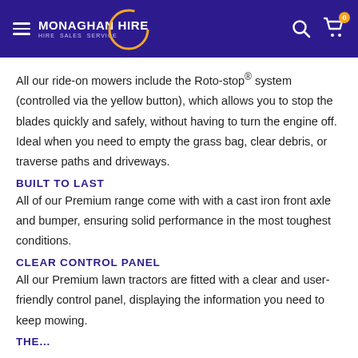MONAGHAN HIRE — Hire Sales Service
All our ride-on mowers include the Roto-stop® system (controlled via the yellow button), which allows you to stop the blades quickly and safely, without having to turn the engine off. Ideal when you need to empty the grass bag, clear debris, or traverse paths and driveways.
BUILT TO LAST
All of our Premium range come with with a cast iron front axle and bumper, ensuring solid performance in the most toughest conditions.
CLEAR CONTROL PANEL
All our Premium lawn tractors are fitted with a clear and user-friendly control panel, displaying the information you need to keep mowing.
The...